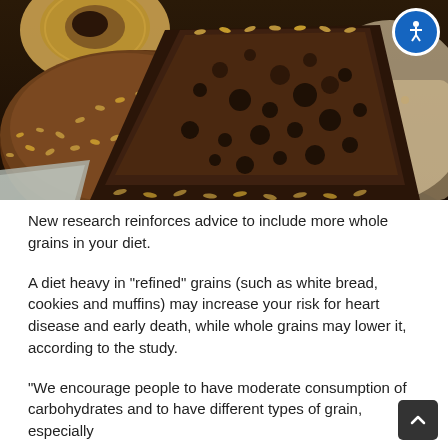[Figure (photo): Close-up photo of assorted whole grain and seeded breads including a large round seeded loaf and sliced dark whole grain bread, with a bagel visible in the upper left. An accessibility icon (person with circle) appears in the upper right corner.]
New research reinforces advice to include more whole grains in your diet.
A diet heavy in "refined" grains (such as white bread, cookies and muffins) may increase your risk for heart disease and early death, while whole grains may lower it, according to the study.
"We encourage people to have moderate consumption of carbohydrates and to have different types of grain, especially